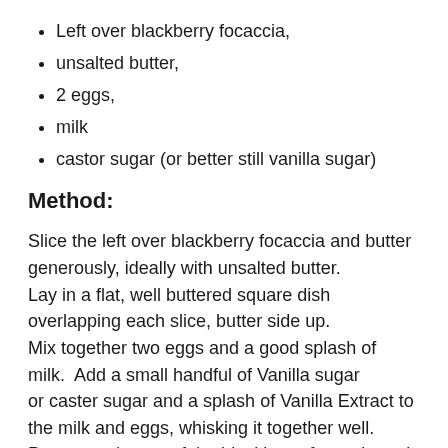Left over blackberry focaccia,
unsalted butter,
2 eggs,
milk
castor sugar (or better still vanilla sugar)
Method:
Slice the left over blackberry focaccia and butter generously, ideally with unsalted butter.
Lay in a flat, well buttered square dish overlapping each slice, butter side up.
Mix together two eggs and a good splash of milk.  Add a small handful of Vanilla sugar
or caster sugar and a splash of Vanilla Extract to the milk and eggs, whisking it together well.
Pour over the top of the blackberry focaccia and place in the baking oven of the Aga until its golden and yummy...  about